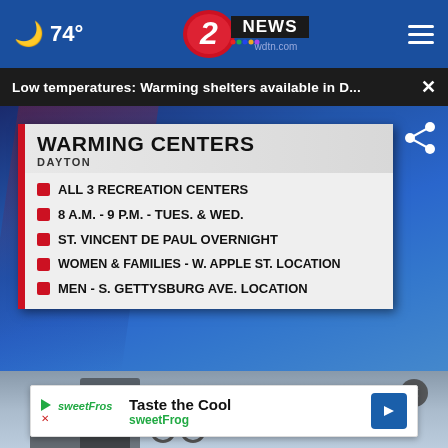74° 2 NEWS wdtn.com
Low temperatures: Warming shelters available in D... ×
[Figure (screenshot): WDTN News broadcast graphic showing WARMING CENTERS DAYTON with list: ALL 3 RECREATION CENTERS, 8 A.M. - 9 P.M. - TUES. & WED., ST. VINCENT DE PAUL OVERNIGHT, WOMEN & FAMILIES - W. APPLE ST. LOCATION, MEN - S. GETTYSBURG AVE. LOCATION]
ALL 3 RECREATION CENTERS
8 A.M. - 9 P.M. - TUES. & WED.
ST. VINCENT DE PAUL OVERNIGHT
WOMEN & FAMILIES - W. APPLE ST. LOCATION
MEN - S. GETTYSBURG AVE. LOCATION
[Figure (photo): Photo of person with bicycle in winter/cold weather conditions]
[Figure (other): Advertisement for sweetFrog: Taste the Cool]